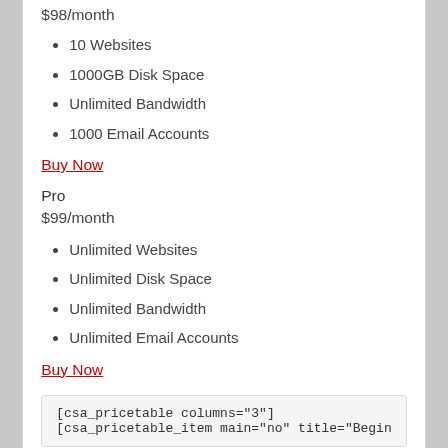$98/month
10 Websites
1000GB Disk Space
Unlimited Bandwidth
1000 Email Accounts
Buy Now
Pro
$99/month
Unlimited Websites
Unlimited Disk Space
Unlimited Bandwidth
Unlimited Email Accounts
Buy Now
[csa_pricetable columns="3"]
[csa_pricetable_item main="no" title="Begin